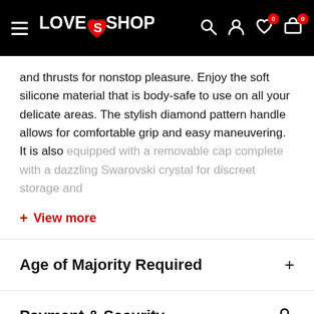LOVE S SHOP — navigation header with logo, search, account, wishlist (0), cart (0)
and thrusts for nonstop pleasure. Enjoy the soft silicone material that is body-safe to use on all your delicate areas. The stylish diamond pattern handle allows for comfortable grip and easy maneuvering. It is also equipped with a removable cap complete with a dazzling Swarovski crystal for discreet storage and
+ View more
Age of Majority Required
Payment & Security